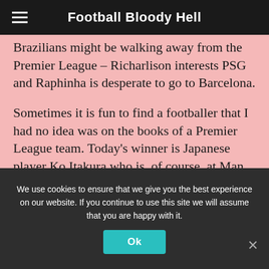Football Bloody Hell
Brazilians might be walking away from the Premier League – Richarlison interests PSG and Raphinha is desperate to go to Barcelona.
Sometimes it is fun to find a footballer that I had no idea was on the books of a Premier League team. Today's winner is Japanese player Ko Itakura who is, of course, at Man City but been out on loan to Schalke. He's now interesting newly-promoted Fulham and Bournemouth.
West Ham are facing up to the fact they might
We use cookies to ensure that we give you the best experience on our website. If you continue to use this site we will assume that you are happy with it.